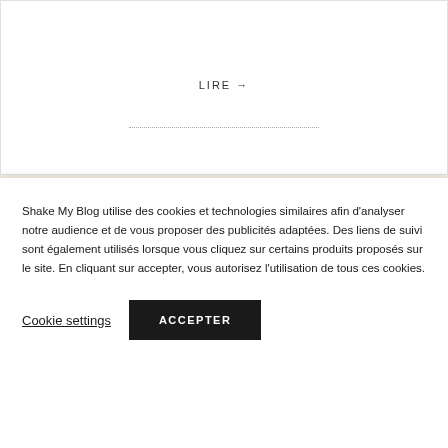LIRE →
ARTICLES SUIVANTS →
[Figure (illustration): Handwritten decorative text reading 'suivez moi sur insta.' in large brush script on beige background]
Shake My Blog utilise des cookies et technologies similaires afin d'analyser notre audience et de vous proposer des publicités adaptées. Des liens de suivi sont également utilisés lorsque vous cliquez sur certains produits proposés sur le site. En cliquant sur accepter, vous autorisez l'utilisation de tous ces cookies.
Cookie settings
ACCEPTER